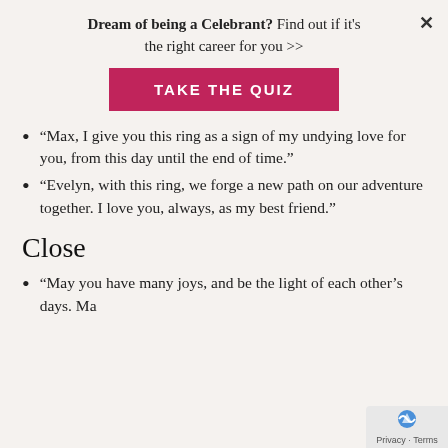Dream of being a Celebrant? Find out if it's the right career for you >>
[Figure (other): Pink/magenta button with text TAKE THE QUIZ]
“Max, I give you this ring as a sign of my undying love for you, from this day until the end of time.”
“Evelyn, with this ring, we forge a new path on our adventure together. I love you, always, as my best friend.”
Close
“May you have many joys, and be the light of each other’s days. Ma…